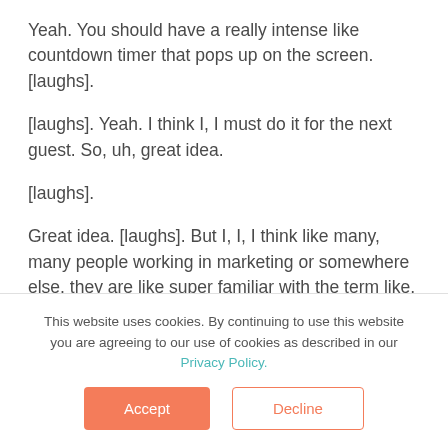Yeah. You should have a really intense like countdown timer that pops up on the screen. [laughs].
[laughs]. Yeah. I think I, I must do it for the next guest. So, uh, great idea.
[laughs].
Great idea. [laughs]. But I, I, I think like many, many people working in marketing or somewhere else, they are like super familiar with the term like, &quot;Lead generation &quot; And-
This website uses cookies. By continuing to use this website you are agreeing to our use of cookies as described in our Privacy Policy.